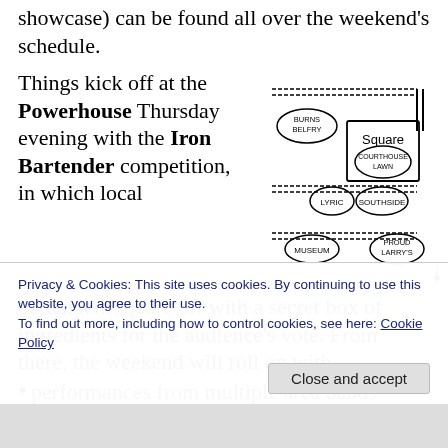showcase) can be found all over the weekend's schedule.
Things kick off at the Powerhouse Thursday evening with the Iron Bartender competition, in which local bartenders square off with a secret box of ingredients for the audience's vote. From there, the weekend will roll on with
[Figure (map): Hand-drawn map showing locations: Burns Belfry, Square, Courthouse Lawn, Lyric, Southside, Museum, Proud Larry's, Powerhouse]
performances from multiple area bands
Privacy & Cookies: This site uses cookies. By continuing to use this website, you agree to their use.
To find out more, including how to control cookies, see here: Cookie Policy